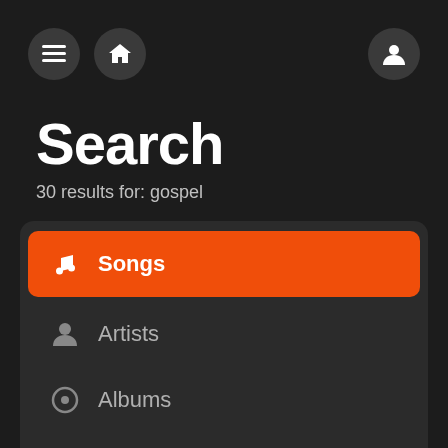[Figure (screenshot): Navigation bar with hamburger menu icon, home icon (left), and user profile icon (right) on dark background]
Search
30 results for: gospel
Songs (active, orange background)
Artists
Albums
Playlists